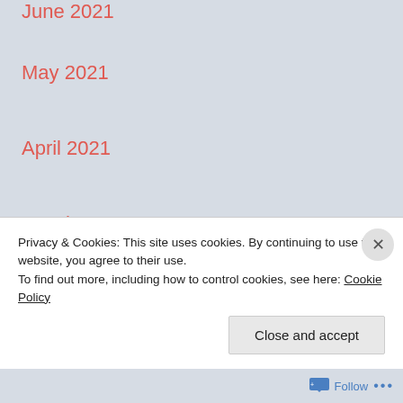June 2021
May 2021
April 2021
March 2021
February 2021
January 2021
December 2020
November 2020
October 2020
Privacy & Cookies: This site uses cookies. By continuing to use this website, you agree to their use.
To find out more, including how to control cookies, see here: Cookie Policy
Close and accept
Follow ...